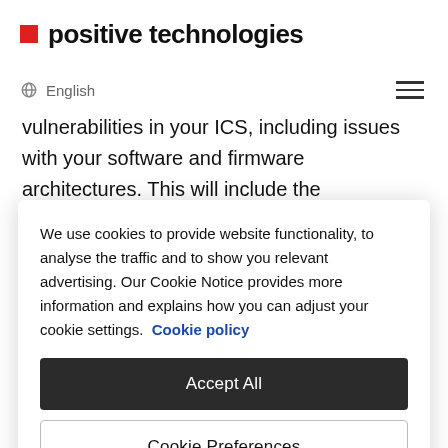positive technologies
English
vulnerabilities in your ICS, including issues with your software and firmware architectures. This will include the identification of all potential points of entry, threat
We use cookies to provide website functionality, to analyse the traffic and to show you relevant advertising. Our Cookie Notice provides more information and explains how you can adjust your cookie settings. Cookie policy
Accept All
Cookie Preferences
methods used will vary depending on your network, but are likely to include: